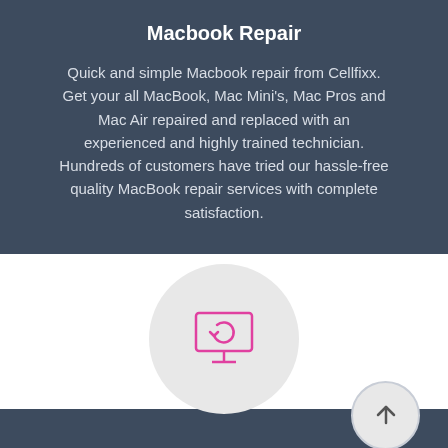Macbook Repair
Quick and simple Macbook repair from Cellfixx. Get your all MacBook, Mac Mini’s, Mac Pros and Mac Air repaired and replaced with an experienced and highly trained technician. Hundreds of customers have tried our hassle-free quality MacBook repair services with complete satisfaction.
[Figure (illustration): Pink outlined monitor/computer icon with a refresh/restore symbol on screen, inside a light gray circle]
[Figure (illustration): Upward arrow icon inside a partially visible light gray circle, positioned at bottom right]
Call Us